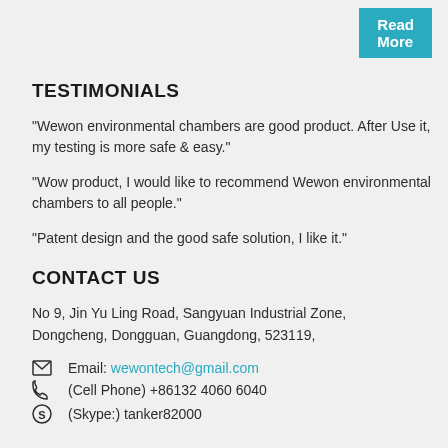Read More
TESTIMONIALS
"Wewon environmental chambers are good product. After Use it, my testing is more safe & easy."
"Wow product, I would like to recommend Wewon environmental chambers to all people."
"Patent design and the good safe solution, I like it."
CONTACT US
No 9, Jin Yu Ling Road, Sangyuan Industrial Zone, Dongcheng, Dongguan, Guangdong, 523119,
Email: wewontech@gmail.com
(Cell Phone) +86132 4060 6040
(Skype:) tanker82000